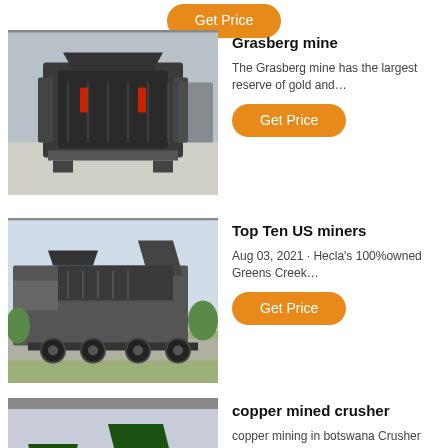[Figure (other): Orange Get Price button at top of page]
[Figure (photo): Large industrial impact crusher machine in a warehouse/factory setting, dark grey color]
Grasberg mine
The Grasberg mine has the largest reserve of gold and…
[Figure (other): Orange Get Price button]
[Figure (photo): Mobile screening/crushing machine on a trailer with wheels, photographed outdoors]
Top Ten US miners
Aug 03, 2021 · Hecla's 100%owned Greens Creek…
[Figure (other): Orange Get Price button]
[Figure (photo): Green mobile crushing/screening equipment operating outdoors with worker visible]
copper mined crusher
copper mining in botswana Crusher Sand Maker. Konk…
[Figure (other): Orange Get Price button]